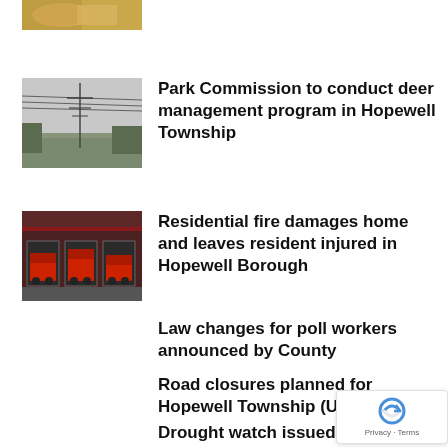[Figure (photo): Partial top image, cropped food or similar subject]
[Figure (photo): Power lines and electrical tower in a wooded area, black and white]
Park Commission to conduct deer management program in Hopewell Township
[Figure (photo): Fire trucks parked in front of a fire station with red facade]
Residential fire damages home and leaves resident injured in Hopewell Borough
Law changes for poll workers announced by County
Road closures planned for Hopewell Township (UPDATED)
Drought watch issued